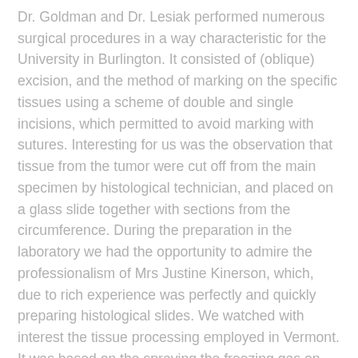Dr. Goldman and Dr. Lesiak performed numerous surgical procedures in a way characteristic for the University in Burlington. It consisted of (oblique) excision, and the method of marking on the specific tissues using a scheme of double and single incisions, which permitted to avoid marking with sutures. Interesting for us was the observation that tissue from the tumor were cut off from the main specimen by histological technician, and placed on a glass slide together with sections from the circumference. During the preparation in the laboratory we had the opportunity to admire the professionalism of Mrs Justine Kinerson, which, due to rich experience was perfectly and quickly preparing histological slides. We watched with interest the tissue processing employed in Vermont. It was based on the spraying the freezing gas on the glass slide with the tissue adhering to glass and pressed by the finger. Due to the lack of original “histo-freeze” we successfully replaced it with a can of compressed air (typically used for cleaning computers